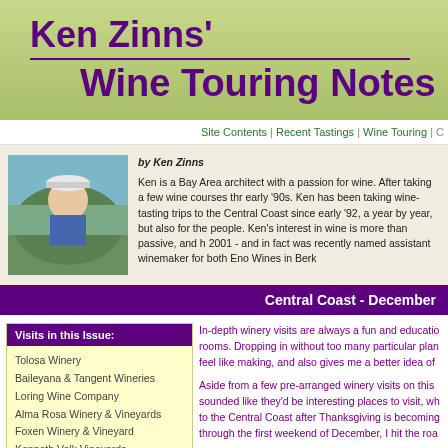Ken Zinns' Wine Touring Notes
Site Contents | Recent Tastings | Wine Touring | C
by Ken Zinns

Ken is a Bay Area architect with a passion for wine. After taking a few wine courses thr early '90s. Ken has been taking wine-tasting trips to the Central Coast since early '92, a year by year, but also for the people. Ken's interest in wine is more than passive, and h 2001 - and in fact was recently named assistant winemaker for both Eno Wines in Berk
Central Coast - December
Visits in this Issue:
Tolosa Winery
Baileyana & Tangent Wineries
Loring Wine Company
Alma Rosa Winery & Vineyards
Foxen Winery & Vineyard
Kenneth Volk Vineyards
Stolpman Vineyards & Winery
Presidio
Trio (DiBruno /Curran /Badge)
Ampelos Cellars
Ken Brown Wines
Tablas Creek Vineyard
Calcareous Vineyard
In-depth winery visits are always a fun and educatio rooms. Dropping in without too many particular plan feel like making, and also gives me a better idea of

Aside from a few pre-arranged winery visits on this sounded like they'd be interesting places to visit, wh to the Central Coast after Thanksgiving is becoming through the first weekend of December, I hit the roa